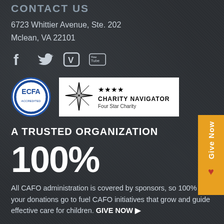CONTACT US
6723 Whittier Avenue, Ste. 202
Mclean, VA 22101
[Figure (infographic): Social media icons: Facebook, Twitter, Vimeo, YouTube]
[Figure (infographic): ECFA Accredited badge and Charity Navigator Four Star Charity badge]
A TRUSTED ORGANIZATION
100%
All CAFO administration is covered by sponsors, so 100% of your donations go to fuel CAFO initiatives that grow and guide effective care for children. GIVE NOW ▶